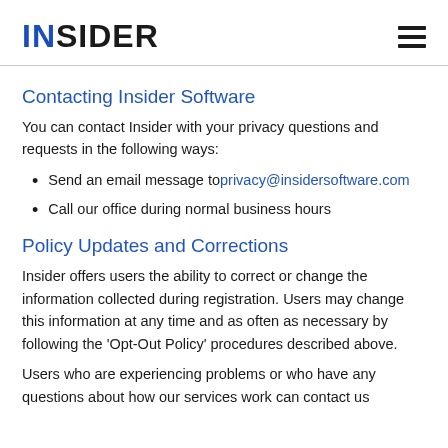INSIDER
Contacting Insider Software
You can contact Insider with your privacy questions and requests in the following ways:
Send an email message to privacy@insidersoftware.com
Call our office during normal business hours
Policy Updates and Corrections
Insider offers users the ability to correct or change the information collected during registration. Users may change this information at any time and as often as necessary by following the 'Opt-Out Policy' procedures described above.
Users who are experiencing problems or who have any questions about how our services work can contact us